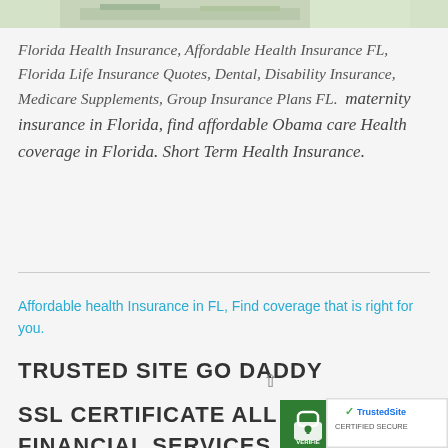[Figure (screenshot): Google Maps strip showing a map thumbnail with Google logo and map data copyright notice]
Florida Health Insurance, Affordable Health Insurance FL, Florida Life Insurance Quotes, Dental, Disability Insurance, Medicare Supplements, Group Insurance Plans FL. Maternity insurance in Florida, find affordable Obama care Health coverage in Florida. Short Term Health Insurance.
Affordable health Insurance in FL, Find coverage that is right for you.
TRUSTED SITE GO DADDY
SSL CERTIFICATE ALL HORIZON FINANCIAL SERVICES
[Figure (logo): GoDaddy verified/secured lock badge (green) and TrustedSite certified secure badge]